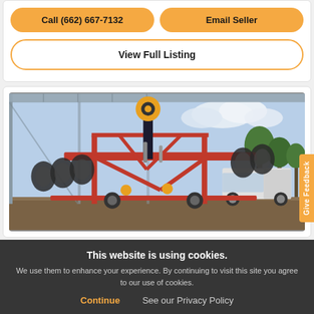Call (662) 667-7132
Email Seller
View Full Listing
[Figure (photo): Agricultural disc harrow / tillage equipment (red frame) stored under a metal pole barn shed, with a white pickup truck and trees visible in the background outdoors.]
Give Feedback
This website is using cookies.
We use them to enhance your experience. By continuing to visit this site you agree to our use of cookies.
Continue
See our Privacy Policy